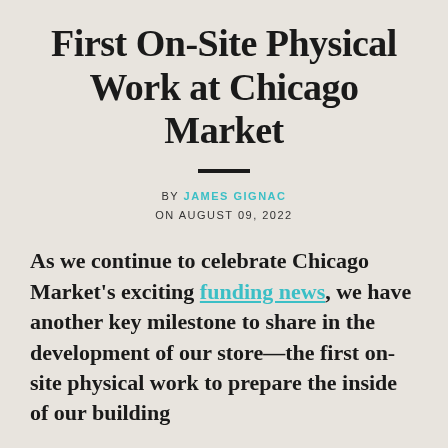First On-Site Physical Work at Chicago Market
BY JAMES GIGNAC
ON AUGUST 09, 2022
As we continue to celebrate Chicago Market's exciting funding news, we have another key milestone to share in the development of our store—the first on-site physical work to prepare the inside of our building